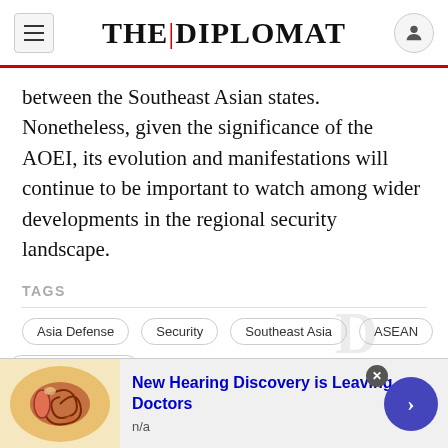THE | DIPLOMAT
between the Southeast Asian states. Nonetheless, given the significance of the AOEI, its evolution and manifestations will continue to be important to watch among wider developments in the regional security landscape.
TAGS
Asia Defense
Security
Southeast Asia
ASEAN
ASEAN Our Eyes
ASEAN terrorism
Our Eyes Initiative
RELATED
New Hearing Discovery is Leaving Doctors
n/a